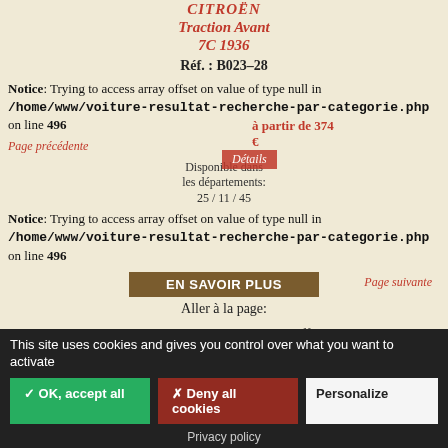CITROËN
Traction Avant
7C 1936
Réf. : B023–28
Notice: Trying to access array offset on value of type null in /home/www/voiture-resultat-recherche-par-categorie.php on line 496
Page précédente
Disponible dans
les départements:
25 / 11 / 45
EN SAVOIR PLUS
Page suivante
Aller à la page:
Notice: Trying to access array offset on value of type null in /home/www/voiture-resultat-recherche-par-categorie.php on line
This site uses cookies and gives you control over what you want to activate
✓ OK, accept all
✗ Deny all cookies
Personalize
Privacy policy